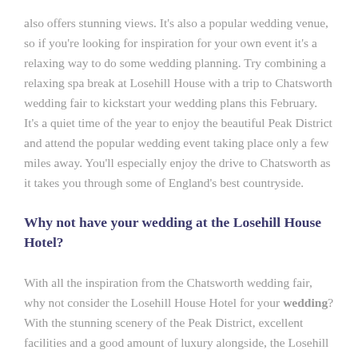also offers stunning views. It's also a popular wedding venue, so if you're looking for inspiration for your own event it's a relaxing way to do some wedding planning. Try combining a relaxing spa break at Losehill House with a trip to Chatsworth wedding fair to kickstart your wedding plans this February. It's a quiet time of the year to enjoy the beautiful Peak District and attend the popular wedding event taking place only a few miles away. You'll especially enjoy the drive to Chatsworth as it takes you through some of England's best countryside.
Why not have your wedding at the Losehill House Hotel?
With all the inspiration from the Chatsworth wedding fair, why not consider the Losehill House Hotel for your wedding? With the stunning scenery of the Peak District, excellent facilities and a good amount of luxury alongside, the Losehill House could be the perfect place for your